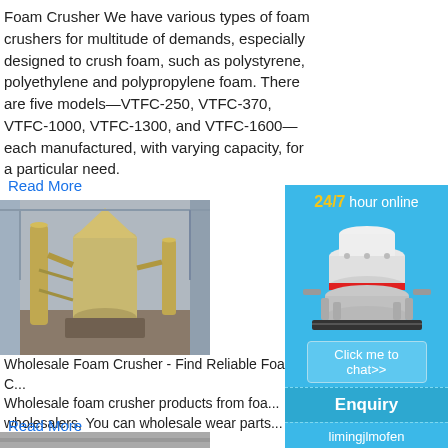Foam Crusher We have various types of foam crushers for multitude of demands, especially designed to crush foam, such as polystyrene, polyethylene and polypropylene foam. There are five models—VTFC-250, VTFC-370, VTFC-1000, VTFC-1300, and VTFC-1600— each manufactured, with varying capacity, for a particular need.
Read More
[Figure (photo): Industrial foam crusher / milling equipment in a warehouse setting, showing large yellow cylindrical machinery and metal framework]
Wholesale Foam Crusher - Find Reliable Foam C... Wholesale foam foam crusher products from foa... wholesalers, You can wholesale wear parts... er and more on Made-in-China.
Read More
[Figure (infographic): Sidebar advertisement panel with blue background. Shows '24/7 hour online' heading, an image of a cone crusher machine, a 'Click me to chat>>' button, 'Enquiry' section, and 'limingjlmofen' text at the bottom.]
[Figure (photo): Partial bottom image, appears to be foam or material being processed]